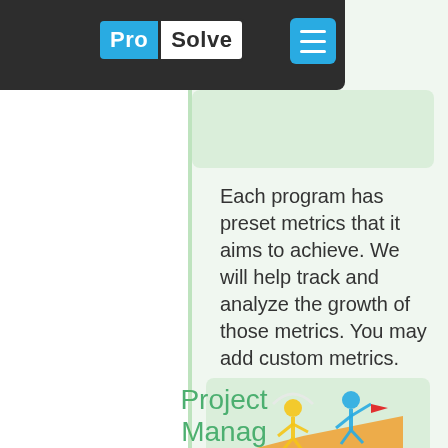[Figure (logo): ProSolve logo with blue 'Pro' block and white 'Solve' block on dark header bar, with blue hamburger menu button]
Each program has preset metrics that it aims to achieve. We will help track and analyze the growth of those metrics. You may add custom metrics.
[Figure (illustration): Two stick figures on an orange hill/ramp — a yellow figure being boosted and a blue figure holding a red flag, representing collaboration and goal achievement]
Project Manager